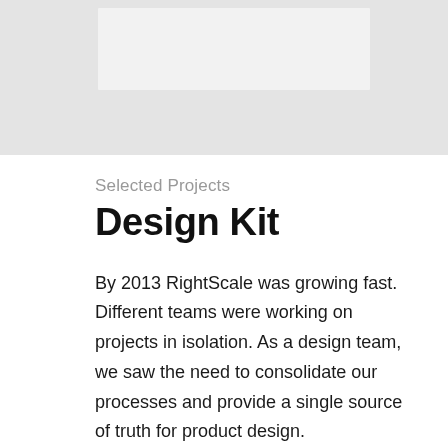[Figure (other): Light gray banner area at top of page with a white/light rectangle inset]
Selected Projects
Design Kit
By 2013 RightScale was growing fast. Different teams were working on projects in isolation. As a design team, we saw the need to consolidate our processes and provide a single source of truth for product design.